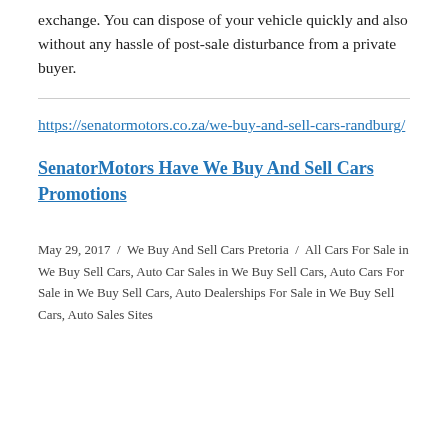exchange. You can dispose of your vehicle quickly and also without any hassle of post-sale disturbance from a private buyer.
https://senatormotors.co.za/we-buy-and-sell-cars-randburg/
SenatorMotors Have We Buy And Sell Cars Promotions
May 29, 2017  /  We Buy And Sell Cars Pretoria  /  All Cars For Sale in We Buy Sell Cars, Auto Car Sales in We Buy Sell Cars, Auto Cars For Sale in We Buy Sell Cars, Auto Dealerships For Sale in We Buy Sell Cars, Auto Sales Sites